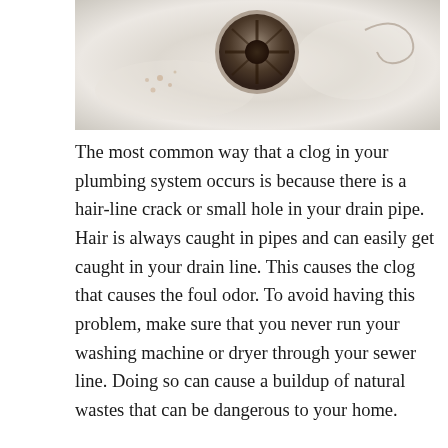[Figure (photo): Close-up photo of a bathroom drain with rust stains and a hair curl mark visible on a white surface]
The most common way that a clog in your plumbing system occurs is because there is a hair-line crack or small hole in your drain pipe. Hair is always caught in pipes and can easily get caught in your drain line. This causes the clog that causes the foul odor. To avoid having this problem, make sure that you never run your washing machine or dryer through your sewer line. Doing so can cause a buildup of natural wastes that can be dangerous to your home.
When you think that you have a clog in your drain, you should immediately make sure that it is solved. Otherwise, you risk having an unclean drain that will result in more serious problems such as flooding.